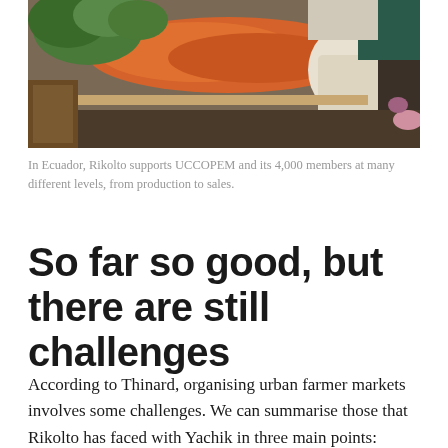[Figure (photo): A market scene in Ecuador showing vegetables and produce including carrots, with people in the background at a market stall.]
In Ecuador, Rikolto supports UCCOPEM and its 4,000 members at many different levels, from production to sales.
So far so good, but there are still challenges
According to Thinard, organising urban farmer markets involves some challenges. We can summarise those that Rikolto has faced with Yachik in three main points: